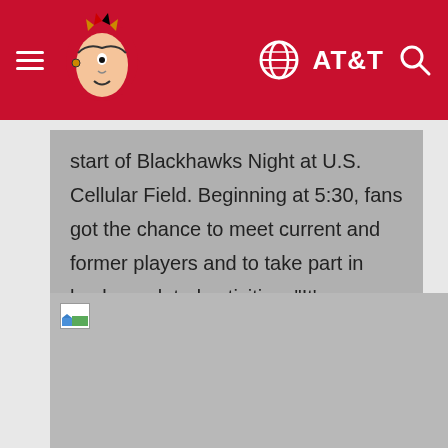Chicago Blackhawks | AT&T
start of Blackhawks Night at U.S. Cellular Field. Beginning at 5:30, fans got the chance to meet current and former players and to take part in hockey-related activities. "It's amazing to think about the Hawks fans who are willing to come out in the summer and [show their] support," Mayers said. "It's almost like the convention." (Photo by Chase Agnello-Dean/Chicago Blackhawks)
[Figure (photo): Broken/loading image placeholder for a photo related to Blackhawks Night at U.S. Cellular Field]